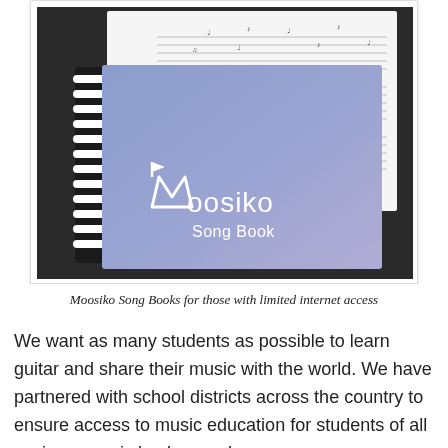[Figure (photo): Photo of a Moosiko Song Book (a spiral-bound notebook with a blue/purple cover showing the Moosiko logo and 'Song Book' text) resting on a dark surface, with sheet music visible behind it.]
Moosiko Song Books for those with limited internet access
We want as many students as possible to learn guitar and share their music with the world. We have partnered with school districts across the country to ensure access to music education for students of all socioeconomic backgrounds.
But we can always do better. If there is a specific use case or scenario where you think we're falling short on